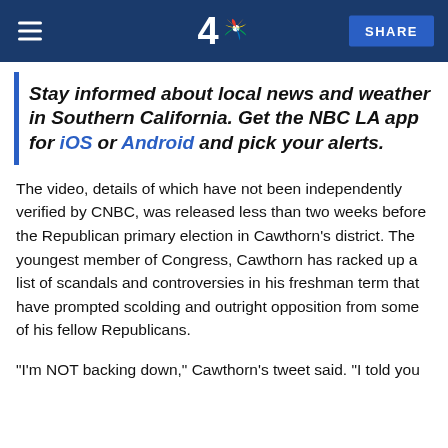NBC LA - 4 - SHARE
Stay informed about local news and weather in Southern California. Get the NBC LA app for iOS or Android and pick your alerts.
The video, details of which have not been independently verified by CNBC, was released less than two weeks before the Republican primary election in Cawthorn's district. The youngest member of Congress, Cawthorn has racked up a list of scandals and controversies in his freshman term that have prompted scolding and outright opposition from some of his fellow Republicans.
"I'm NOT backing down," Cawthorn's tweet said. "I told you they would be coming his way...